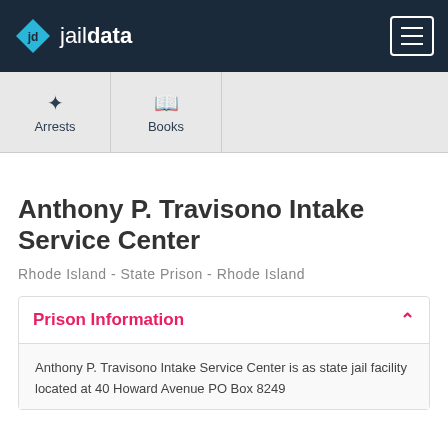jaildata
Arrests
Books
Anthony P. Travisono Intake Service Center
Rhode Island - State Prison - Rhode Island
Prison Information
Anthony P. Travisono Intake Service Center is as state jail facility located at 40 Howard Avenue PO Box 8249